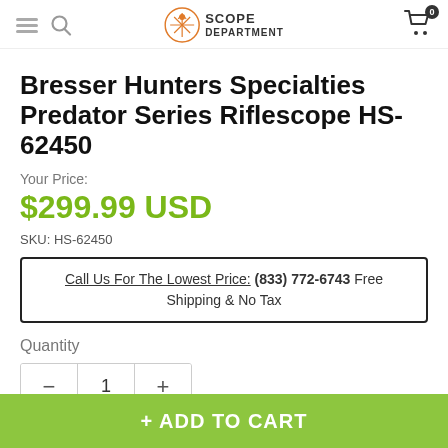Scope Department
Bresser Hunters Specialties Predator Series Riflescope HS-62450
Your Price:
$299.99 USD
SKU: HS-62450
Call Us For The Lowest Price: (833) 772-6743 Free Shipping & No Tax
Quantity
1
+ ADD TO CART